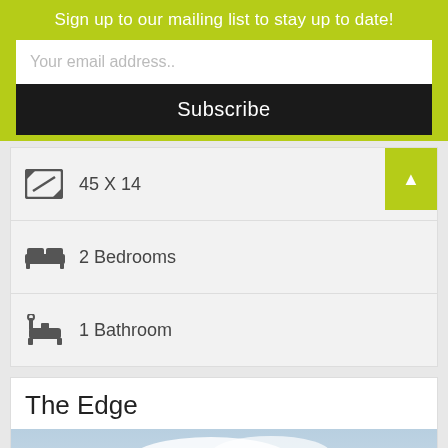Sign up to our mailing list to stay up to date!
Your email address..
Subscribe
45 X 14
2 Bedrooms
1 Bathroom
The Edge
[Figure (photo): Exterior photo of a modern building called The Edge with white angular roof structure against a cloudy blue sky]